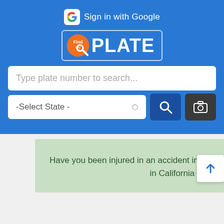[Figure (screenshot): FindMyPlate app screenshot showing Google sign-in button, FindPlate logo with magnifying glass, a search input field for plate number, a state selector dropdown, a search button, and a camera button, all on a blue background.]
Have you been injured in an accident involving 6HXE202 or another vehicle? Speak to a car accident attorney in California today by calling the accident hotline below.